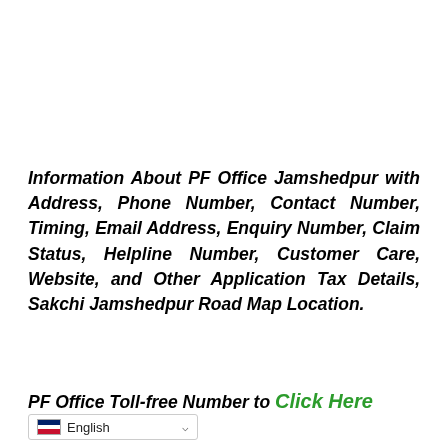Information About PF Office Jamshedpur with Address, Phone Number, Contact Number, Timing, Email Address, Enquiry Number, Claim Status, Helpline Number, Customer Care, Website, and Other Application Tax Details, Sakchi Jamshedpur Road Map Location.
PF Office Toll-free Number to Click Here